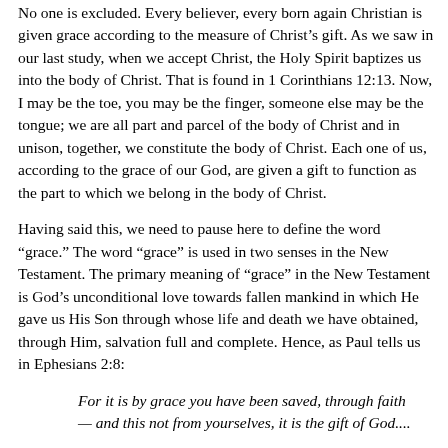No one is excluded.  Every believer, every born again Christian is given grace according to the measure of Christ’s gift.  As we saw in our last study, when we accept Christ, the Holy Spirit baptizes us into the body of Christ.  That is found in 1 Corinthians 12:13.  Now, I may be the toe, you may be the finger, someone else may be the tongue; we are all part and parcel of the body of Christ and in unison, together, we constitute the body of Christ.  Each one of us, according to the grace of our God, are given a gift to function as the part to which we belong in the body of Christ.
Having said this, we need to pause here to define the word “grace.”  The word “grace” is used in two senses in the New Testament.  The primary meaning of “grace” in the New Testament is God’s unconditional love towards fallen mankind in which He gave us His Son through whose life and death we have obtained, through Him, salvation full and complete.  Hence, as Paul tells us in Ephesians 2:8:
For it is by grace you have been saved, through faith — and this not from yourselves, it is the gift of God....
That is the primary meaning of grace.
But the word “grace” is also used in the New Testament, and especially by the apostle Paul, to refer to the power of God made available to the born again Christian through the Holy Spirit so that